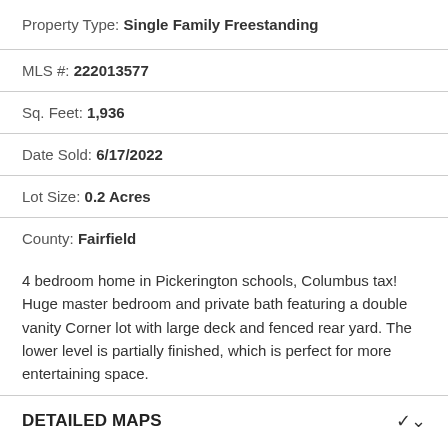Property Type: Single Family Freestanding
MLS #: 222013577
Sq. Feet: 1,936
Date Sold: 6/17/2022
Lot Size: 0.2 Acres
County: Fairfield
4 bedroom home in Pickerington schools, Columbus tax! Huge master bedroom and private bath featuring a double vanity Corner lot with large deck and fenced rear yard. The lower level is partially finished, which is perfect for more entertaining space.
DETAILED MAPS